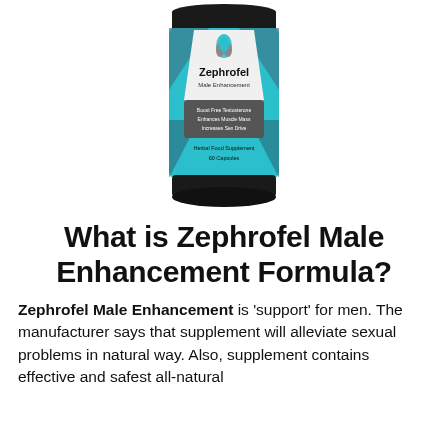[Figure (photo): Product bottle of Zephrofel Male Enhancement supplement — a cylindrical black bottle with teal/blue geometric label design, featuring the Zephrofel logo with a flame icon. Label text includes 'Zephrofel Male Enhancement', 'Boost Free Testosterone', 'Enhances Muscle Mass', 'Increases Sex Drive', 'Herbal Food Supplement', '60 Capsules'.]
What is Zephrofel Male Enhancement Formula?
Zephrofel Male Enhancement is 'support' for men. The manufacturer says that supplement will alleviate sexual problems in natural way. Also, supplement contains effective and safest all-natural